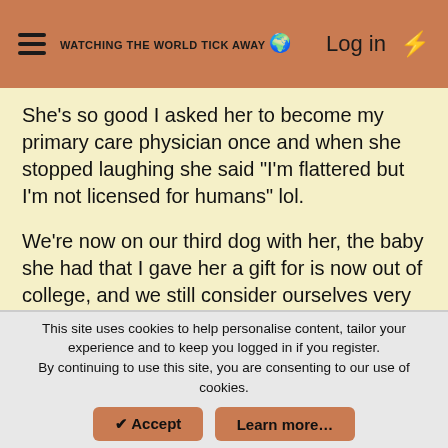WATCHING THE WORLD TICK AWAY 🌍  Log in  ⚡
She's so good I asked her to become my primary care physician once and when she stopped laughing she said "I'm flattered but I'm not licensed for humans" lol.
We're now on our third dog with her, the baby she had that I gave her a gift for is now out of college, and we still consider ourselves very lucky to have found her.
👍 😍 nehimama, Cyclonemom, spinner and 7 others
This site uses cookies to help personalise content, tailor your experience and to keep you logged in if you register. By continuing to use this site, you are consenting to our use of cookies.